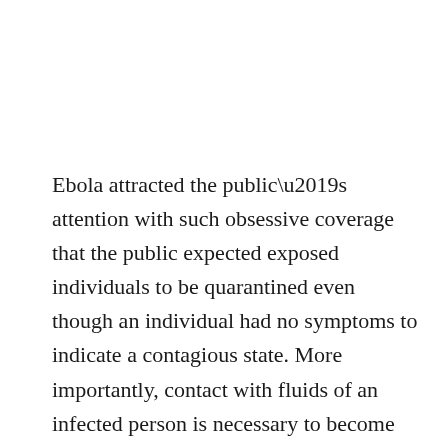Ebola attracted the public’s attention with such obsessive coverage that the public expected exposed individuals to be quarantined even though an individual had no symptoms to indicate a contagious state. More importantly, contact with fluids of an infected person is necessary to become infected. Contrast this with measles where the air and surfaces an infected person has